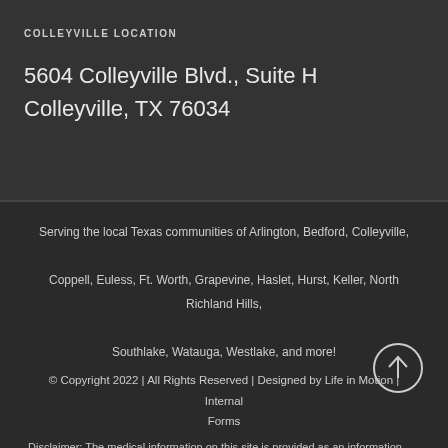COLLEYVILLE LOCATION
5604 Colleyville Blvd., Suite H
Colleyville, TX 76034
Serving the local Texas communities of Arlington, Bedford, Colleyville, Coppell, Euless, Ft. Worth, Grapevine, Haslet, Hurst, Keller, North Richland Hills, Southlake, Watauga, Westlake, and more!
© Copyright 2022 | All Rights Reserved | Designed by Life in Motion | Internal Forms
Disclaimer: The medical information on this site is provided as an information